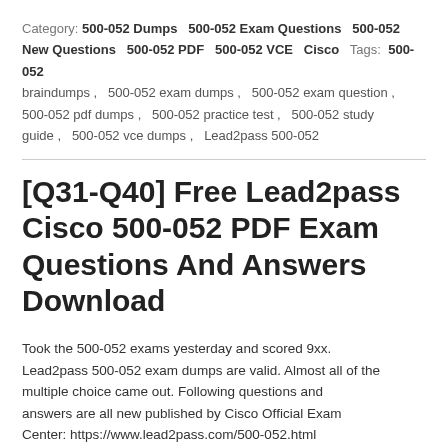Category: 500-052 Dumps  500-052 Exam Questions  500-052 New Questions  500-052 PDF  500-052 VCE  Cisco  Tags: 500-052 braindumps ,  500-052 exam dumps ,  500-052 exam question ,  500-052 pdf dumps ,  500-052 practice test ,  500-052 study guide ,  500-052 vce dumps ,  Lead2pass 500-052
[Q31-Q40] Free Lead2pass Cisco 500-052 PDF Exam Questions And Answers Download
Took the 500-052 exams yesterday and scored 9xx. Lead2pass 500-052 exam dumps are valid. Almost all of the multiple choice came out. Following questions and answers are all new published by Cisco Official Exam Center: https://www.lead2pass.com/500-052.html